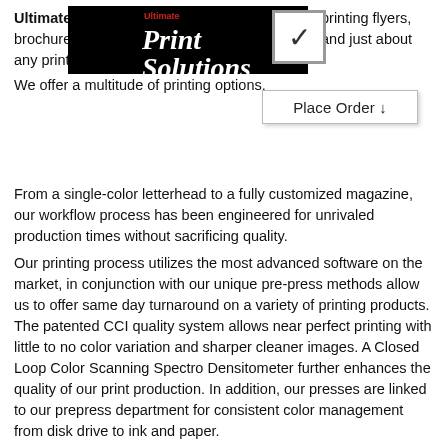[Figure (logo): Ultimate Print Solutions logo — white italic text on black background with red 'Ultimate' label and a checkbox icon]
Ultimate Print Solutions is the best source for printing flyers, brochures, business cards, direct mail, posters and just about any printing product you can imagine!
We offer a multitude of printing options.
[Figure (other): Place Order dropdown button]
From a single-color letterhead to a fully customized magazine, our workflow process has been engineered for unrivaled production times without sacrificing quality.
Our printing process utilizes the most advanced software on the market, in conjunction with our unique pre-press methods allow us to offer same day turnaround on a variety of printing products. The patented CCI quality system allows near perfect printing with little to no color variation and sharper cleaner images. A Closed Loop Color Scanning Spectro Densitometer further enhances the quality of our print production. In addition, our presses are linked to our prepress department for consistent color management from disk drive to ink and paper.
In the pressroom we feature the world's most automated digital and offset printing presses that have a wide range of press formats, including several 20", 29" and 40" machines. These sizes allow us to produce your projects in the most economically efficient manner possible. Also included in our